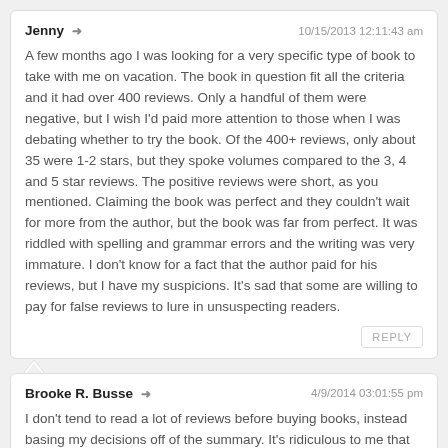Jenny → 10/15/2013 12:11:43 am
A few months ago I was looking for a very specific type of book to take with me on vacation. The book in question fit all the criteria and it had over 400 reviews. Only a handful of them were negative, but I wish I'd paid more attention to those when I was debating whether to try the book. Of the 400+ reviews, only about 35 were 1-2 stars, but they spoke volumes compared to the 3, 4 and 5 star reviews. The positive reviews were short, as you mentioned. Claiming the book was perfect and they couldn't wait for more from the author, but the book was far from perfect. It was riddled with spelling and grammar errors and the writing was very immature. I don't know for a fact that the author paid for his reviews, but I have my suspicions. It's sad that some are willing to pay for false reviews to lure in unsuspecting readers.
REPLY
Brooke R. Busse → 4/9/2014 03:01:55 pm
I don't tend to read a lot of reviews before buying books, instead basing my decisions off of the summary. It's ridiculous to me that authors would pay for fake, generic reviews.